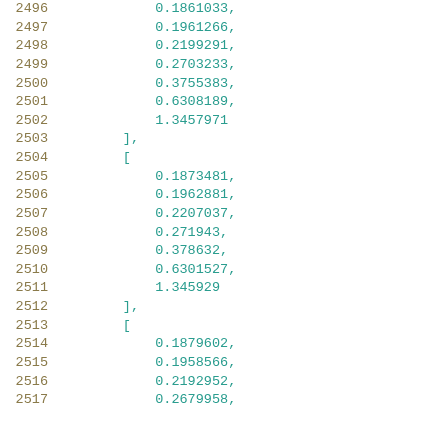2496    0.1861633,
2497    0.1961266,
2498    0.2199291,
2499    0.2703233,
2500    0.3755383,
2501    0.6308189,
2502    1.3457971
2503  ],
2504  [
2505    0.1873481,
2506    0.1962881,
2507    0.2207037,
2508    0.271943,
2509    0.378632,
2510    0.6301527,
2511    1.345929
2512  ],
2513  [
2514    0.1879602,
2515    0.1958566,
2516    0.2192952,
2517    0.2679958,